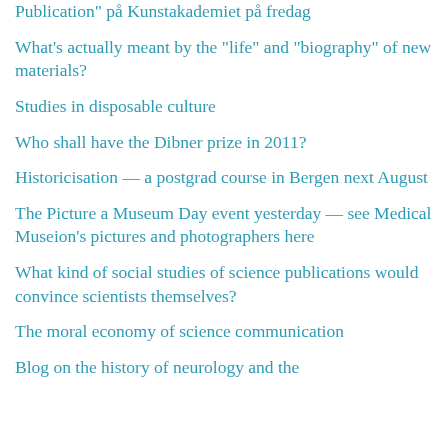Publication" på Kunstakademiet på fredag
What's actually meant by the "life" and "biography" of new materials?
Studies in disposable culture
Who shall have the Dibner prize in 2011?
Historicisation — a postgrad course in Bergen next August
The Picture a Museum Day event yesterday — see Medical Museion's pictures and photographers here
What kind of social studies of science publications would convince scientists themselves?
The moral economy of science communication
Blog on the history of neurology and the